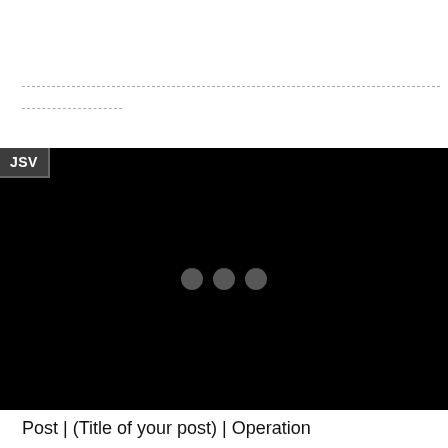magnets is a reality.
[Figure (screenshot): Black video player area with JSV badge in top-left corner and three grey loading dots in the center]
Post | (Title of your post) | Operation